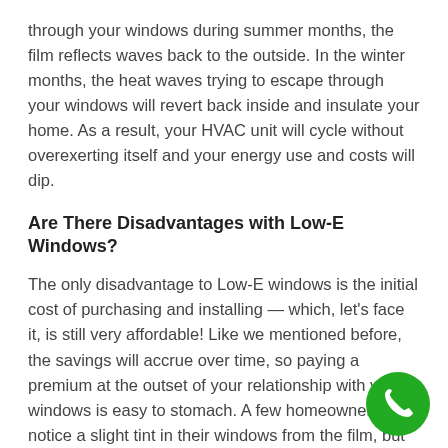through your windows during summer months, the film reflects waves back to the outside. In the winter months, the heat waves trying to escape through your windows will revert back inside and insulate your home. As a result, your HVAC unit will cycle without overexerting itself and your energy use and costs will dip.
Are There Disadvantages with Low-E Windows?
The only disadvantage to Low-E windows is the initial cost of purchasing and installing — which, let's face it, is still very affordable! Like we mentioned before, the savings will accrue over time, so paying a premium at the outset of your relationship with your windows is easy to stomach. A few homeowners notice a slight tint in their windows from the film, but the difference is negligible to most.
Tri County Windows and Siding, out of Purcellville, family owned and operated by a local firefighter. We provide high-quality Soft-Lite Windows and Sliding Doors,